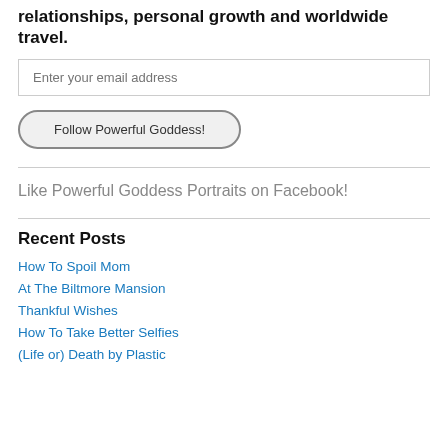relationships, personal growth and worldwide travel.
Enter your email address
Follow Powerful Goddess!
Like Powerful Goddess Portraits on Facebook!
Recent Posts
How To Spoil Mom
At The Biltmore Mansion
Thankful Wishes
How To Take Better Selfies
(Life or) Death by Plastic